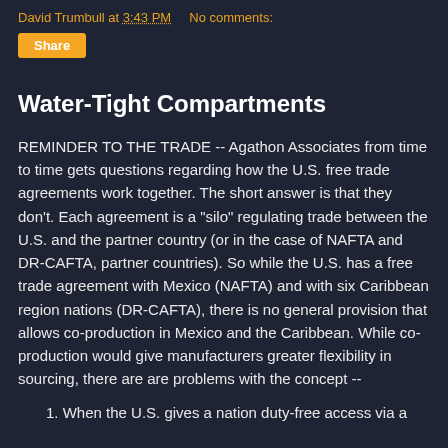David Trumbull at 3:43 PM   No comments:
Share
Water-Tight Compartments
REMINDER TO THE TRADE -- Agathon Associates from time to time gets questions regarding how the U.S. free trade agreements work together. The short answer is that they don't. Each agreement is a "silo" regulating trade between the U.S. and the partner country (or in the case of NAFTA and DR-CAFTA, partner countries). So while the U.S. has a free trade agreement with Mexico (NAFTA) and with six Caribbean region nations (DR-CAFTA), there is no general provision that allows co-production in Mexico and the Caribbean. While co-production would give manufacturers greater flexibility in sourcing, there are are problems with the concept --
1. When the U.S. gives a nation duty-free access via a